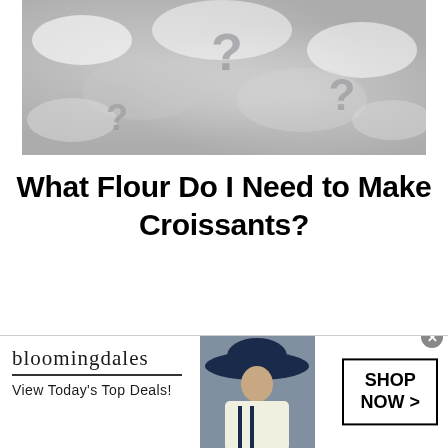[Figure (photo): Close-up photo of white flour with question marks visible in the powder]
What Flour Do I Need to Make Croissants?
[Figure (infographic): Bloomingdale's advertisement banner: logo, 'View Today's Top Deals!', model wearing wide-brim blue hat, 'SHOP NOW >' button]